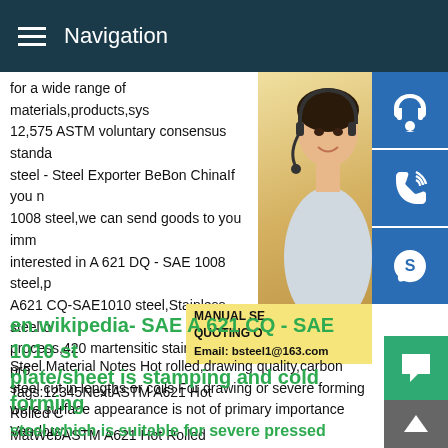Navigation
for a wide range of materials,products,sys 12,575 ASTM voluntary consensus standa steel - Steel Exporter BeBon ChinaIf you n 1008 steel,we can send goods to you imm interested in A 621 DQ - SAE 1008 steel,p A621 CQ-SAE1010 steel,Stainless steel o process,420 martensitic stainless steel pr Tags:12345NextASTM A621 Hot Rolled C MatWebASTM A621 Hot Rolled Carbon S Ferrous Metal; ASTM Steel; Carbon Steel Steel.Material Notes Hot rolled,drawing quality,carbon steel cut in lengths or coils For drawing or severe forming were surface appearance is not of primary importance Vendors:
[Figure (photo): Woman with headset, customer service representative photo on right side, with blue icon boxes for headset, phone, and Skype overlaid]
MANUAL SE QUOTING O Email: bsteel1@163.com
en.wikipedia- SAE A 621 CQ - SAE 1010 st plate/sheet is stamping and cold forming steel which is suitable for severe pressed